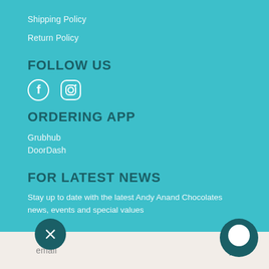Shipping Policy
Return Policy
FOLLOW US
[Figure (illustration): Facebook and Instagram social media icons in white]
ORDERING APP
Grubhub
DoorDash
FOR LATEST NEWS
Stay up to date with the latest Andy Anand Chocolates news, events and special values
email